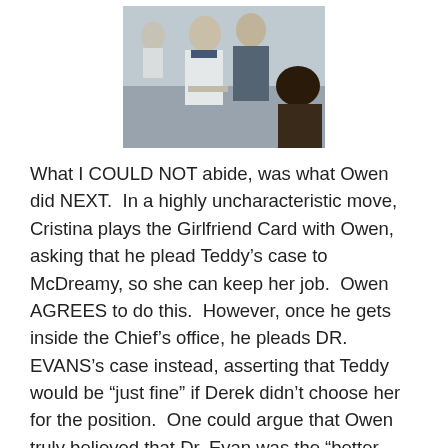[Figure (photo): Two people in a hospital setting, one wearing a white coat and one in scrubs, appearing to be in conversation in a cafeteria or common area.]
What I COULD NOT abide, was what Owen did NEXT.  In a highly uncharacteristic move, Cristina plays the Girlfriend Card with Owen, asking that he plead Teddy’s case to McDreamy, so she can keep her job.  Owen AGREES to do this.  However, once he gets inside the Chief’s office, he pleads DR. EVANS’s case instead, asserting that Teddy would be “just fine” if Derek didn’t choose her for the position.  One could argue that Owen truly believed that Dr. Evan was the “better man” for the job.  However, I think this had more to do with Owen’s own concerns that he won’t be strong enough to not make out with Teddy, the next time the two of them are stuck in